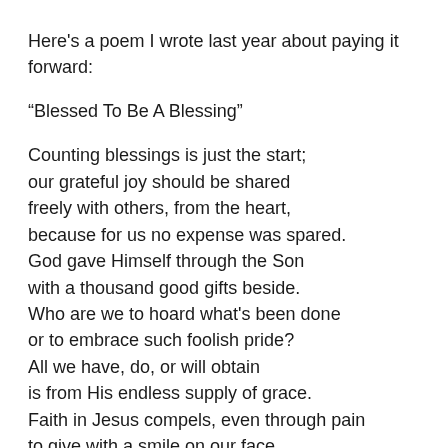Here's a poem I wrote last year about paying it forward:
“Blessed To Be A Blessing”
Counting blessings is just the start;
our grateful joy should be shared
freely with others, from the heart,
because for us no expense was spared.
God gave Himself through the Son
with a thousand good gifts beside.
Who are we to hoard what’s been done
or to embrace such foolish pride?
All we have, do, or will obtain
is from His endless supply of grace.
Faith in Jesus compels, even through pain
to give with a smile on our face.
For through every trial, His light will glow;